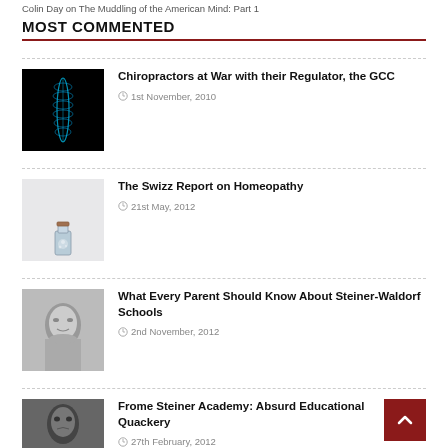Colin Day on The Muddling of the American Mind: Part 1
MOST COMMENTED
Chiropractors at War with their Regulator, the GCC — 1st November, 2010
The Swizz Report on Homeopathy — 21st May, 2012
What Every Parent Should Know About Steiner-Waldorf Schools — 2nd November, 2012
Frome Steiner Academy: Absurd Educational Quackery — 27th February, 2012